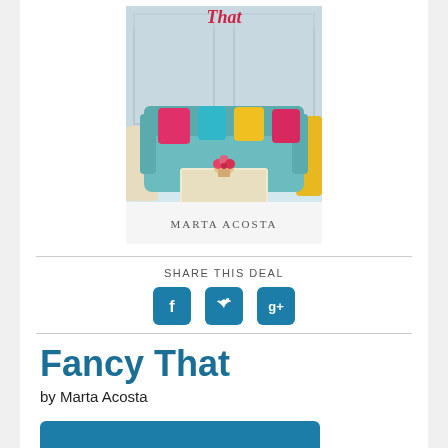[Figure (illustration): Book cover for 'Fancy That' by Marta Acosta. Shows a teal sofa with colorful pillows (pink, teal, yellow) in a light blue room, a white coffee table with flowers, and partial yellow chair. Title 'That' visible at top in red cursive script. Author name 'MARTA ACOSTA' at bottom in gray serif text on white band.]
SHARE THIS DEAL
[Figure (infographic): Three social media share icons: Facebook (f), Twitter (bird), and Google+ (g+), each as white icon on teal/blue rounded square background.]
Fancy That
by Marta Acosta